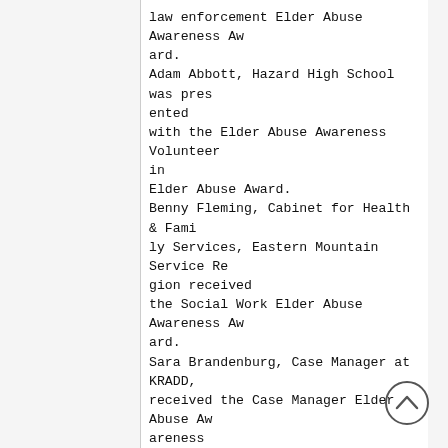law enforcement Elder Abuse Awareness Award.
Adam Abbott, Hazard High School was presented
with the Elder Abuse Awareness Volunteer in
Elder Abuse Award.
Benny Fleming, Cabinet for Health & Family Services, Eastern Mountain Service Region received
the Social Work Elder Abuse Awareness Award.
Sara Brandenburg, Case Manager at KRADD,
received the Case Manager Elder Abuse Awareness
Award.
All the KY River Elder Abuse Council members were presented with a certificate and recognized for working
hard in their communities to get elder abuse awareness projects completed.
KY River Elder Abuse Poster Contest winners in the K – 2
grades category were: Niko Fugate, Madis